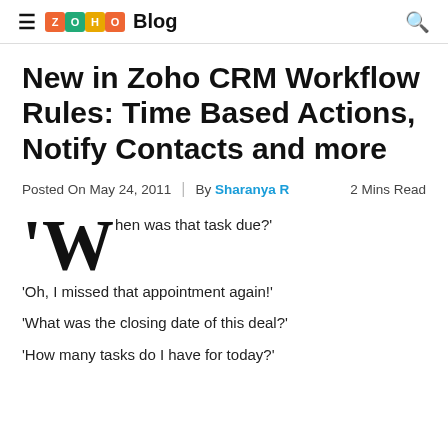≡ ZOHO Blog 🔍
New in Zoho CRM Workflow Rules: Time Based Actions, Notify Contacts and more
Posted On May 24, 2011 | By Sharanya R   2 Mins Read
'When was that task due?'
'Oh, I missed that appointment again!'
'What was the closing date of this deal?'
'How many tasks do I have for today?'